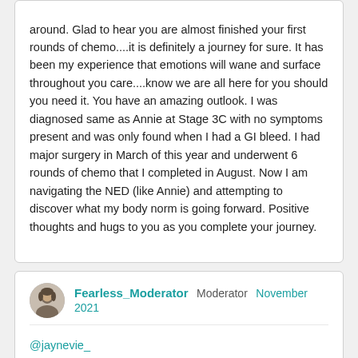around.  Glad to hear you are almost finished your first rounds of chemo....it is definitely a journey for sure.  It has been my experience that emotions will wane and surface throughout you care....know we are all here for you should you need it.  You have an amazing outlook. I was diagnosed same as Annie at Stage 3C with no symptoms present and was only found when I had a GI bleed.  I had major surgery in March of this year and underwent 6 rounds of chemo that I completed in August.  Now I am navigating the NED (like Annie) and attempting to discover what my body norm is going forward.  Positive thoughts and hugs to you as you complete your journey.
Fearless_Moderator  Moderator  November 2021
@jaynevie_
Welcome to our community. I am so sorry to hear of your diagnosis, especially at such a young age. But Germ Cell OVC is very rare but most prevalent under age 30.  I expect your